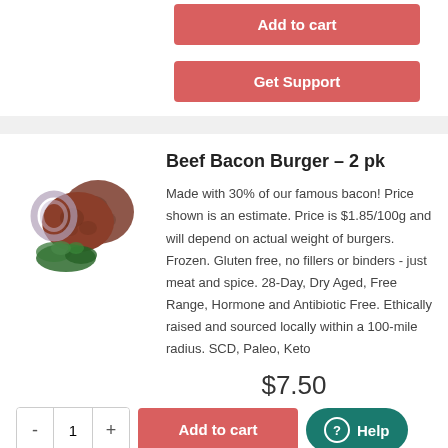[Figure (screenshot): Partial e-commerce product page top: Add to cart and Get Support buttons (red/salmon) for a previous product]
Beef Bacon Burger – 2 pk
[Figure (photo): Photo of beef bacon burger patties with onion rings and parsley garnish on white background]
Made with 30% of our famous bacon! Price shown is an estimate. Price is $1.85/100g and will depend on actual weight of burgers. Frozen. Gluten free, no fillers or binders - just meat and spice. 28-Day, Dry Aged, Free Range, Hormone and Antibiotic Free. Ethically raised and sourced locally within a 100-mile radius. SCD, Paleo, Keto
$7.50